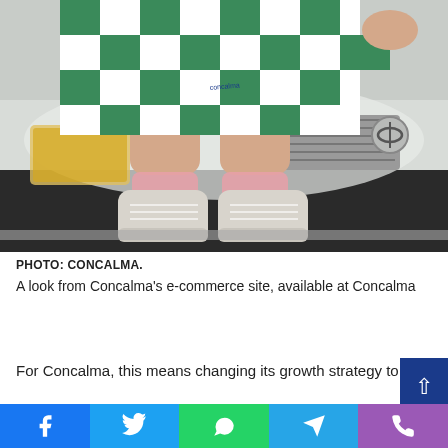[Figure (photo): A person wearing a green and white checkered dress and worn white high-top Converse sneakers with pink socks, sitting on the hood of a Toyota car. The dress has a 'Concalma' logo on it.]
PHOTO: CONCALMA.
A look from Concalma's e-commerce site, available at Concalma
For Concalma, this means changing its growth strategy to focus on...